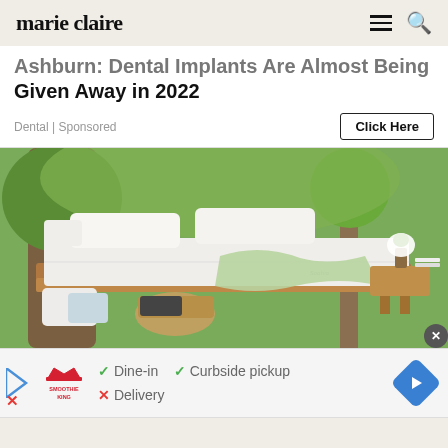marie claire
Ashburn: Dental Implants Are Almost Being Given Away in 2022
Dental | Sponsored
[Figure (photo): Outdoor bedroom scene with white mattress, pillows, green throw, wooden nightstand with flowers, surrounded by trees and green foliage. Saatva mattress brand visible.]
[Figure (infographic): Advertisement banner for Smoothie King showing: Dine-in (checkmark), Curbside pickup (checkmark), Delivery (X mark). Blue play button on left, Smoothie King logo, navigation diamond icon on right.]